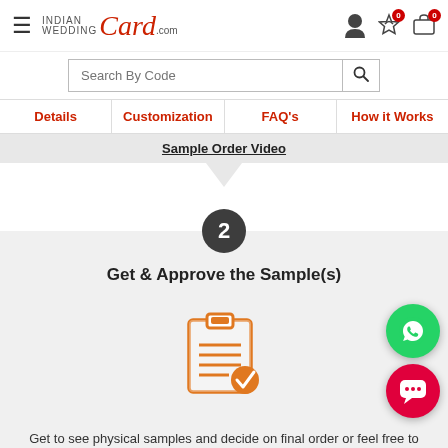IndianWeddingCard.com — Search By Code — Details | Customization | FAQ's | How it Works
Sample Order Video
2
Get & Approve the Sample(s)
[Figure (illustration): Orange clipboard icon with a checkmark badge]
Get to see physical samples and decide on final order or feel free to order more samples.
3
Place Your Bulk Orders